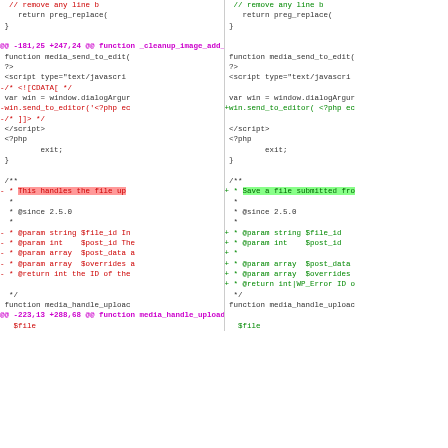[Figure (screenshot): A side-by-side diff view of PHP/JavaScript code showing changes in a WordPress file. Left column shows removed lines (red), right column shows added lines (green). Includes hunk headers, function diffs, and docblock changes.]